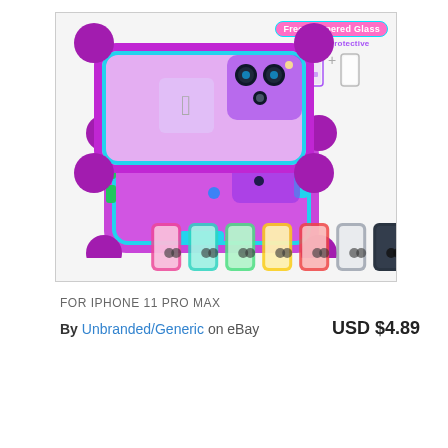[Figure (photo): iPhone 11 Pro Max protective case product listing image showing purple/teal bumper case with transparent back panel, stacked view, along with color variants (pink, teal, green, yellow, red, clear, black) and a 'Free Tempered Glass 360° Full Protective' badge in upper right.]
FOR IPHONE 11 PRO MAX
By Unbranded/Generic on eBay  USD $4.89